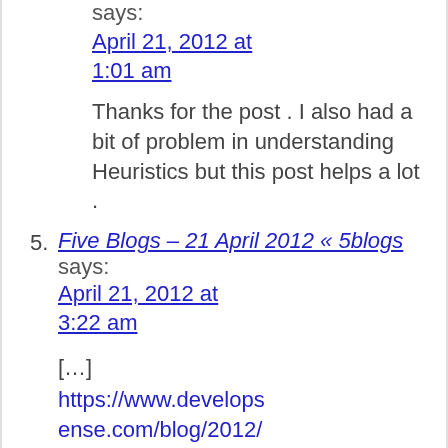says:
April 21, 2012 at 1:01 am
Thanks for the post . I also had a bit of problem in understanding Heuristics but this post helps a lot .
5. Five Blogs – 21 April 2012 « 5blogs says: April 21, 2012 at 3:22 am
[…] https://www.developsense.com/blog/2012/